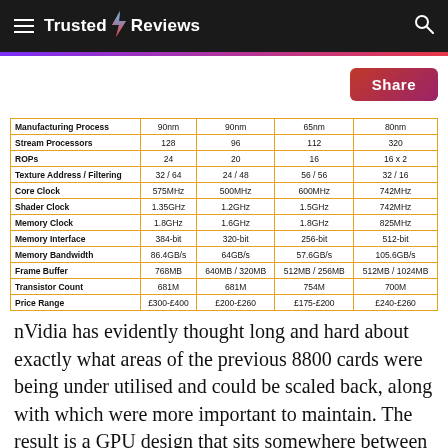Trusted Reviews
|  | Col1 | Col2 | Col3 | Col4 |
| --- | --- | --- | --- | --- |
| Manufacturing Process | 90nm | 90nm | 65nm | 80nm |
| Stream Processors | 128 | 96 | 112 | 320 |
| ROPs | 24 | 20 | 16 | 16 x 2 |
| Texture Address / Filtering | 32 / 64 | 24 / 48 | 56 / 56 | 32 / 16 |
| Core Clock | 575MHz | 500MHz | 600MHz | 742MHz |
| Shader Clock | 1.35GHz | 1.2GHz | 1.5GHz | 742MHz |
| Memory Clock | 1.8GHz | 1.6GHz | 1.8GHz | 825MHz |
| Memory Interface | 384-bit | 320-bit | 256-bit | 512-bit |
| Memory Bandwidth | 86.4GB/s | 64GB/s | 57.6GB/s | 105.6GB/s |
| Frame Buffer | 768MB | 640MB / 320MB | 512MB / 256MB | 512MB / 1024MB |
| Transistor Count | 681M | 681M | 754M | 700M |
| Price Range | £300-£400 | £200-£260 | £175-£200 | £240-£260 |
nVidia has evidently thought long and hard about exactly what areas of the previous 8800 cards were being under utilised and could be scaled back, along with which were more important to maintain. The result is a GPU design that sits somewhere between the 8800 GTX and 8800